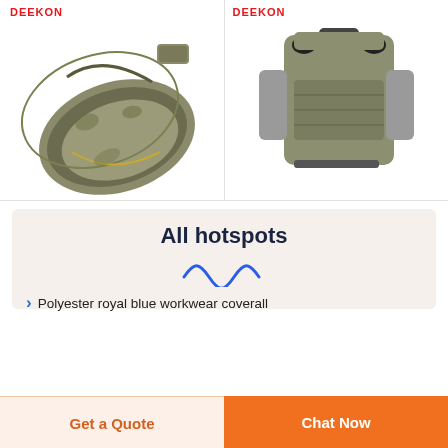[Figure (photo): DEEKON branded camouflage sleeping bag open to show olive green interior, with a small folded pouch above it]
[Figure (photo): DEEKON branded military tactical backpack in digital camouflage (ACU pattern) with grey pouches and black straps]
All hotspots
[Figure (other): Blue wavy squiggle decorative divider]
Polyester royal blue workwear coverall
Get a Quote
Chat Now